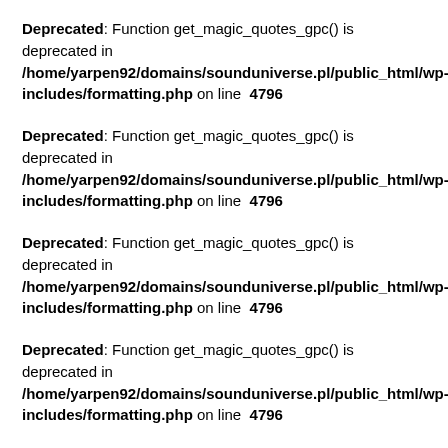Deprecated: Function get_magic_quotes_gpc() is deprecated in /home/yarpen92/domains/sounduniverse.pl/public_html/wp-includes/formatting.php on line 4796
Deprecated: Function get_magic_quotes_gpc() is deprecated in /home/yarpen92/domains/sounduniverse.pl/public_html/wp-includes/formatting.php on line 4796
Deprecated: Function get_magic_quotes_gpc() is deprecated in /home/yarpen92/domains/sounduniverse.pl/public_html/wp-includes/formatting.php on line 4796
Deprecated: Function get_magic_quotes_gpc() is deprecated in /home/yarpen92/domains/sounduniverse.pl/public_html/wp-includes/formatting.php on line 4796
Deprecated: Function get_magic_quotes_gpc() is deprecated in /home/yarpen92/domains/sounduniverse.pl/public_html/wp-includes/formatting.php on line 4796
Deprecated: Function get_magic_quotes_gpc() is deprecated in